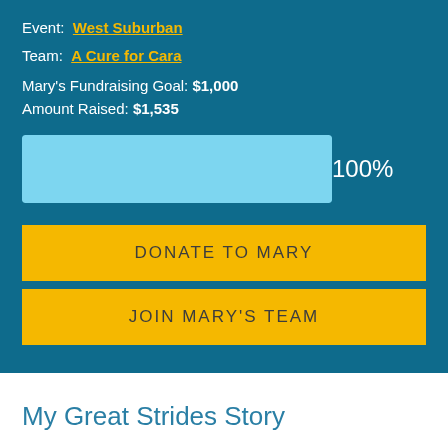Event: West Suburban
Team: A Cure for Cara
Mary's Fundraising Goal: $1,000
Amount Raised: $1,535
[Figure (bar-chart): Fundraising progress]
DONATE TO MARY
JOIN MARY'S TEAM
My Great Strides Story